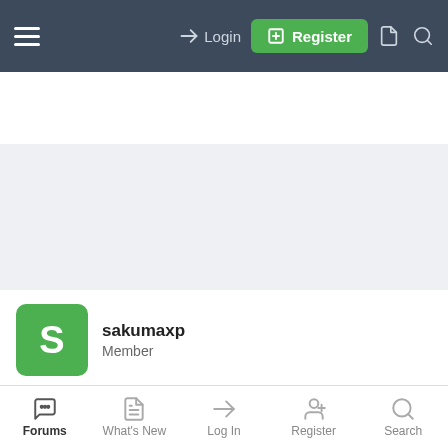Login | Register
[Figure (other): Gray advertisement placeholder area]
sakumaxp
Member
Feb 12, 2011  #2
i had a blue and black ifrogz case but it cracked, so i just put that aside and went today and got full zagg front and back, and
Forums | What's New | Log In | Register | Search